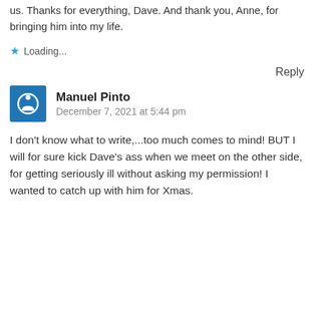us. Thanks for everything, Dave. And thank you, Anne, for bringing him into my life.
★ Loading...
Reply
Manuel Pinto
December 7, 2021 at 5:44 pm
I don't know what to write,...too much comes to mind! BUT I will for sure kick Dave's ass when we meet on the other side, for getting seriously ill without asking my permission! I wanted to catch up with him for Xmas.